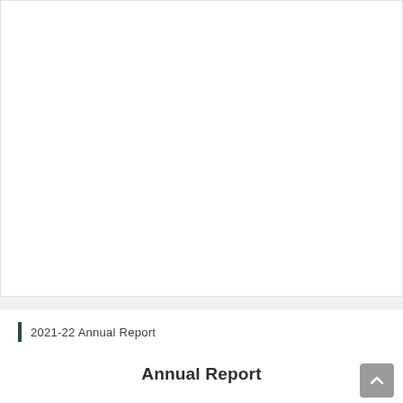[Figure (other): Large white blank area representing a document page image placeholder]
2021-22 Annual Report
Annual Report